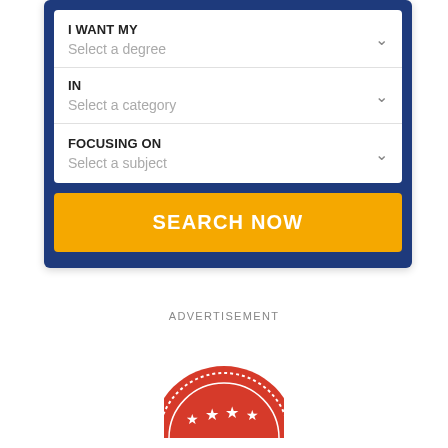I WANT MY
Select a degree
IN
Select a category
FOCUSING ON
Select a subject
SEARCH NOW
ADVERTISEMENT
[Figure (illustration): Partial red circular badge/seal with white stars and dotted border, partially visible at bottom of page]